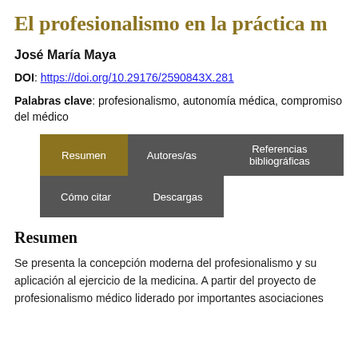El profesionalismo en la práctica m
José María Maya
DOI: https://doi.org/10.29176/2590843X.281
Palabras clave: profesionalismo, autonomía médica, compromiso del médico
[Figure (infographic): Tab navigation UI with five tabs: Resumen (active, gold background), Autores/as, Referencias bibliográficas, Cómo citar, Descargas (all gray background)]
Resumen
Se presenta la concepción moderna del profesionalismo y su aplicación al ejercicio de la medicina. A partir del proyecto de profesionalismo médico liderado por importantes asociaciones